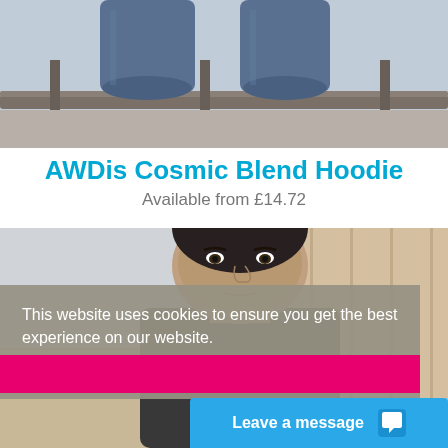[Figure (photo): Photo showing person sitting on a railing, lower body/jeans visible, cropped at top of page]
AWDis Cosmic Blend Hoodie
Available from £14.72
[Figure (photo): Photo of a young man looking at the camera, partially obscured by cookie consent overlay]
This website uses cookies to ensure you get the best experience on our website. Learn more
Leave a message